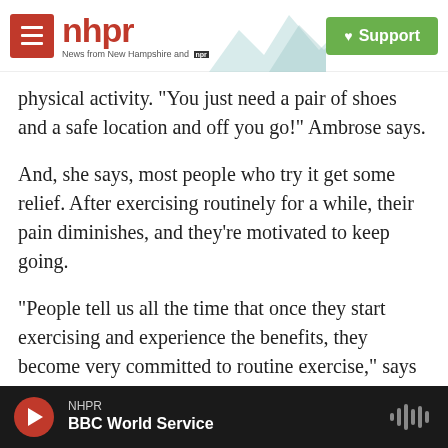NHPR - News from New Hampshire and NPR
physical activity. "You just need a pair of shoes and a safe location and off you go!" Ambrose says.
And, she says, most people who try it get some relief. After exercising routinely for a while, their pain diminishes, and they're motivated to keep going.
"People tell us all the time that once they start exercising and experience the benefits, they become very committed to routine exercise," says Marcy O'Koon of the Arthritis Foundation.
NHPR | BBC World Service